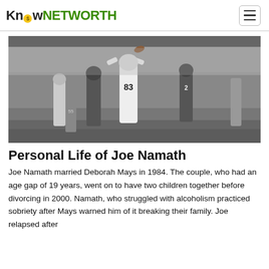KnowNETWORTH
[Figure (photo): Black and white football game photo showing players on the field, including player #83 catching or receiving a pass, with a stadium crowd in the background.]
Personal Life of Joe Namath
Joe Namath married Deborah Mays in 1984. The couple, who had an age gap of 19 years, went on to have two children together before divorcing in 2000. Namath, who struggled with alcoholism practiced sobriety after Mays warned him of it breaking their family. Joe relapsed after